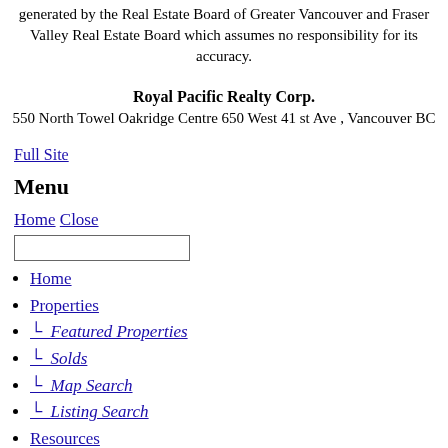generated by the Real Estate Board of Greater Vancouver and Fraser Valley Real Estate Board which assumes no responsibility for its accuracy.
Royal Pacific Realty Corp.
550 North Towel Oakridge Centre 650 West 41 st Ave , Vancouver BC
Full Site
Menu
Home Close
Home
Properties
└  Featured Properties
└  Solds
└  Map Search
└  Listing Search
Resources
└  Buyers